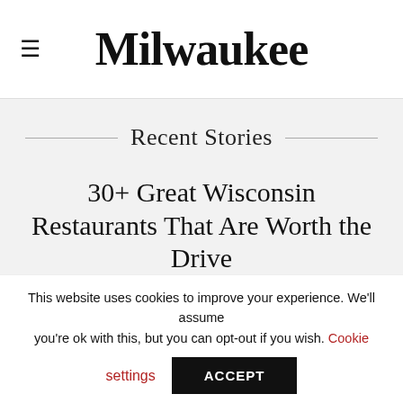Milwaukee
Recent Stories
30+ Great Wisconsin Restaurants That Are Worth the Drive
Milwaukee Brewing Is Selling Its Brewery, but Beers Will Live On
This website uses cookies to improve your experience. We'll assume you're ok with this, but you can opt-out if you wish. Cookie settings ACCEPT